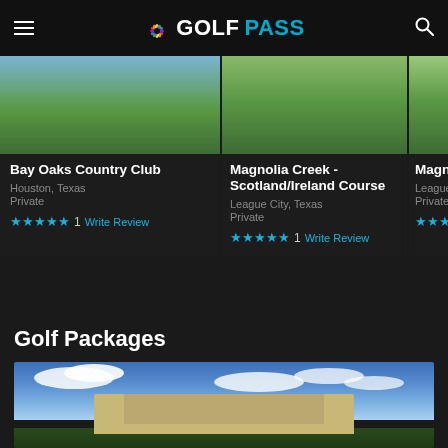GOLFPASS
[Figure (screenshot): Bay Oaks Country Club golf course photo showing green fairway and water]
Bay Oaks Country Club
Houston, Texas
Private
★★★★★ 1  Write Review
[Figure (screenshot): Magnolia Creek Scotland/Ireland Course golf course photo showing green fairway]
Magnolia Creek - Scotland/Ireland Course
League City, Texas
Private
★★★★★ 1  Write Review
[Figure (screenshot): Magnolia England course golf course photo - partially visible]
Magnolia England
League City, Texas
Private
★★★
Golf Packages
[Figure (photo): Hotel or resort building with blue sky and clouds - Golf Packages section]